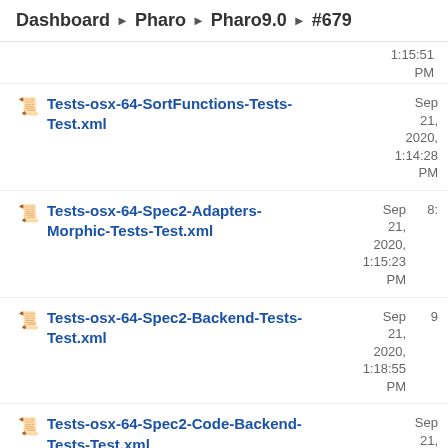Dashboard ▶ Pharo ▶ Pharo9.0 ▶ #679
1:15:51 PM
Tests-osx-64-SortFunctions-Tests-Test.xml — Sep 21, 2020, 1:14:28 PM
Tests-osx-64-Spec2-Adapters-Morphic-Tests-Test.xml — Sep 21, 2020, 1:15:23 PM — 8:
Tests-osx-64-Spec2-Backend-Tests-Test.xml — Sep 21, 2020, 1:18:55 PM — 9
Tests-osx-64-Spec2-Code-Backend-Tests-Test.xml — Sep 21,